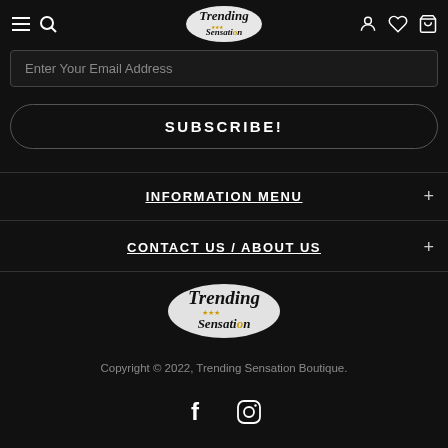Trending Sensation — navigation header with menu, search, user, wishlist, cart icons
Enter Your Email Address
SUBSCRIBE!
INFORMATION MENU
CONTACT US / ABOUT US
[Figure (logo): Trending Sensation Boutique logo with script text and stars]
Copyright © 2022, Trending Sensation Boutique.
[Figure (other): Facebook and Instagram social media icons]